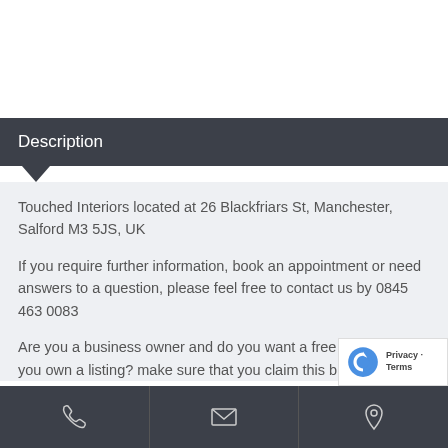Description
Touched Interiors located at 26 Blackfriars St, Manchester, Salford M3 5JS, UK
If you require further information, book an appointment or need answers to a question, please feel free to contact us by 0845 463 0083
Are you a business owner and do you want a free listing here or you own a listing? make sure that you claim this busi
phone | email | location icons